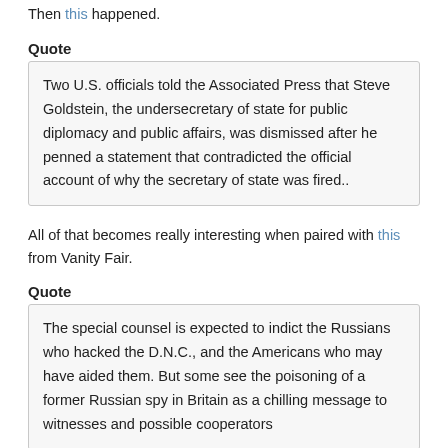Then this happened.
Quote
Two U.S. officials told the Associated Press that Steve Goldstein, the undersecretary of state for public diplomacy and public affairs, was dismissed after he penned a statement that contradicted the official account of why the secretary of state was fired..
All of that becomes really interesting when paired with this from Vanity Fair.
Quote
The special counsel is expected to indict the Russians who hacked the D.N.C., and the Americans who may have aided them. But some see the poisoning of a former Russian spy in Britain as a chilling message to witnesses and possible cooperators
.
Either the WH is lying or the State Department is lying.
It's hard to tell if this is Watergate or Goodfellows - maybe both times 10.